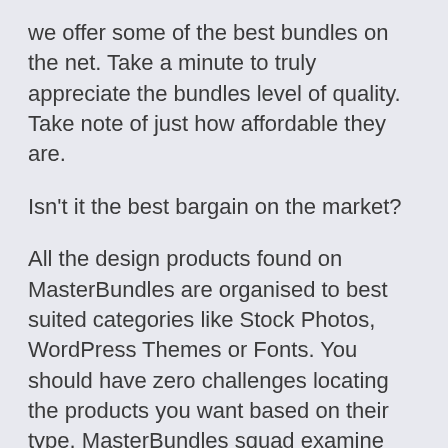we offer some of the best bundles on the net. Take a minute to truly appreciate the bundles level of quality. Take note of just how affordable they are.
Isn't it the best bargain on the market?
All the design products found on MasterBundles are organised to best suited categories like Stock Photos, WordPress Themes or Fonts. You should have zero challenges locating the products you want based on their type. MasterBundles squad examine each and every bundle before adding it to the listing, so don't worry about its quality - we assure it's excellent.
You should definitely bookmark this